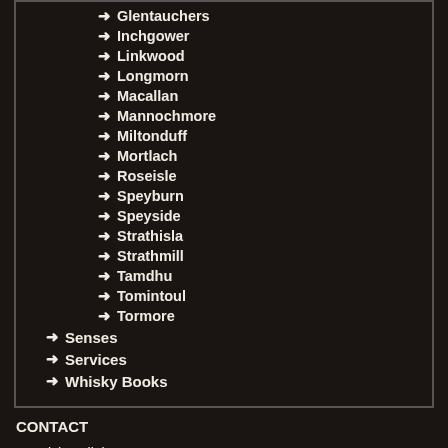→ Glentauchers
→ Inchgower
→ Linkwood
→ Longmorn
→ Macallan
→ Mannochmore
→ Miltonduff
→ Mortlach
→ Roseisle
→ Speyburn
→ Speyside
→ Strathisla
→ Strathmill
→ Tamdhu
→ Tomintoul
→ Tormore
→ Senses
→ Services
→ Whisky Books
CONTACT
Scottish Delight
v/ Peter Schmitz
Laagegyde 49 - DK-2980 Kokkedal - Denmark
info@scottishdelight.com